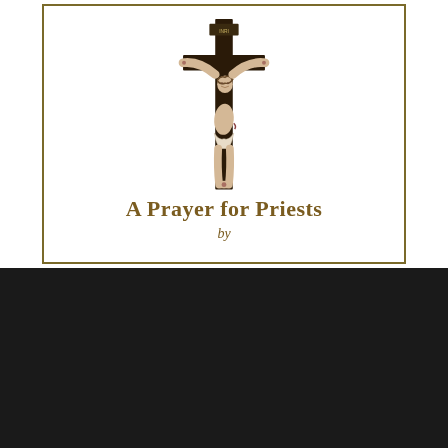[Figure (illustration): A crucifix sculpture showing Jesus Christ on a dark wooden cross, in sepia/ivory tones, photographed against a white background. The cross is dark brown/black wood, and the corpus is an ivory/cream colored sculptural figure.]
A Prayer for Priests
by
We use cookies
We use cookies and other tracking technologies to improve your browsing experience on our website, to show you personalized content and targeted ads, to analyze our website traffic, and